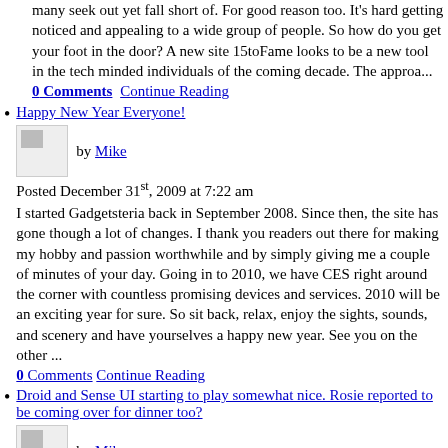many seek out yet fall short of. For good reason too. It's hard getting noticed and appealing to a wide group of people. So how do you get your foot in the door? A new site 15toFame looks to be a new tool in the tech minded individuals of the coming decade. The approa...
0 Comments  Continue Reading
Happy New Year Everyone!
by Mike
Posted December 31st, 2009 at 7:22 am
I started Gadgetsteria back in September 2008. Since then, the site has gone though a lot of changes. I thank you readers out there for making my hobby and passion worthwhile and by simply giving me a couple of minutes of your day. Going in to 2010, we have CES right around the corner with countless promising devices and services. 2010 will be an exciting year for sure. So sit back, relax, enjoy the sights, sounds, and scenery and have yourselves a happy new year. See you on the other ...
0 Comments  Continue Reading
Droid and Sense UI starting to play somewhat nice. Rosie reported to be coming over for dinner too?
by Mike